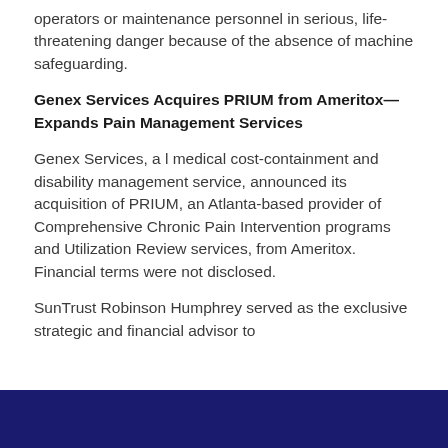operators or maintenance personnel in serious, life-threatening danger because of the absence of machine safeguarding.
Genex Services Acquires PRIUM from Ameritox—Expands Pain Management Services
Genex Services, a l medical cost-containment and disability management service, announced its acquisition of PRIUM, an Atlanta-based provider of Comprehensive Chronic Pain Intervention programs and Utilization Review services, from Ameritox. Financial terms were not disclosed.
SunTrust Robinson Humphrey served as the exclusive strategic and financial advisor to